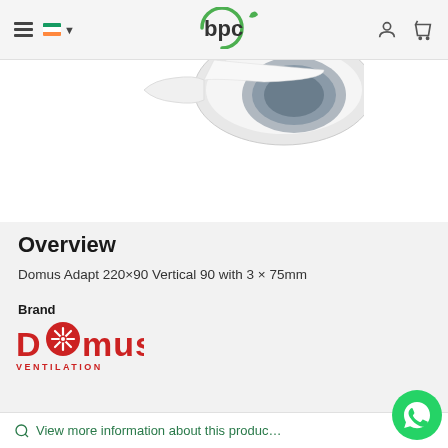BPC ventilation website header with hamburger menu, Irish flag, BPC logo, user icon, and cart icon
[Figure (photo): Partial view of Domus Adapt 220x90 Vertical 90 ventilation fitting, white circular duct connector, top portion visible]
Overview
Domus Adapt 220×90 Vertical 90 with 3 × 75mm
Brand
[Figure (logo): Domus Ventilation logo in red with stylized fan in the letter O]
View more information about this product